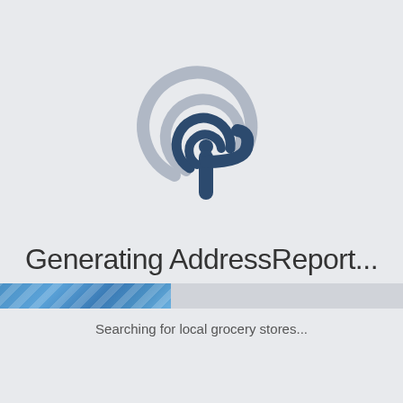[Figure (logo): Circular radio/location signal icon with dark navy blue arcs and a pin/cursor shape in the center, rendered on a light gray background]
Generating AddressReport...
[Figure (infographic): Horizontal progress bar partially filled with blue striped gradient, approximately 40% complete]
Searching for local grocery stores...